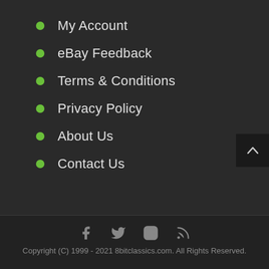My Account
eBay Feedback
Terms & Conditions
Privacy Policy
About Us
Contact Us
[Figure (illustration): Back to top button with upward chevron arrow in dark square]
Copyright (C) 1999 - 2021 8bitclassics.com. All Rights Reserved.